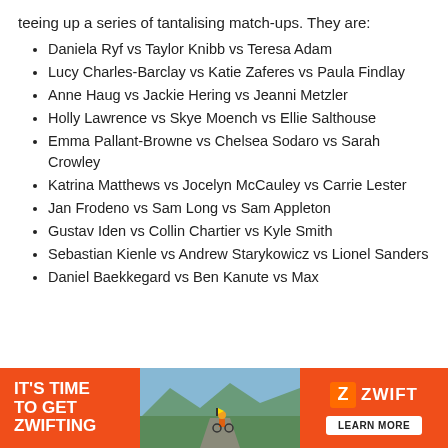teeing up a series of tantalising match-ups. They are:
Daniela Ryf vs Taylor Knibb vs Teresa Adam
Lucy Charles-Barclay vs Katie Zaferes vs Paula Findlay
Anne Haug vs Jackie Hering vs Jeanni Metzler
Holly Lawrence vs Skye Moench vs Ellie Salthouse
Emma Pallant-Browne vs Chelsea Sodaro vs Sarah Crowley
Katrina Matthews vs Jocelyn McCauley vs Carrie Lester
Jan Frodeno vs Sam Long vs Sam Appleton
Gustav Iden vs Collin Chartier vs Kyle Smith
Sebastian Kienle vs Andrew Starykowicz vs Lionel Sanders
Daniel Baekkegard vs Ben Kanute vs Max
[Figure (other): Zwift advertisement banner with orange background, 'IT'S TIME TO GET ZWIFTING' text on left, landscape photo in center, and Zwift logo with LEARN MORE button on right]